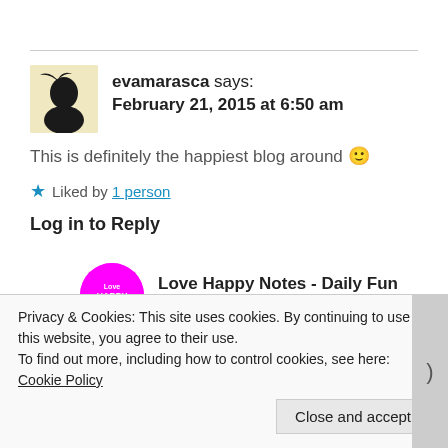evamarasca says: February 21, 2015 at 6:50 am
This is definitely the happiest blog around 🙂
★ Liked by 1 person
Log in to Reply
Love Happy Notes - Daily Fun and Inspiration
Privacy & Cookies: This site uses cookies. By continuing to use this website, you agree to their use. To find out more, including how to control cookies, see here: Cookie Policy
Close and accept